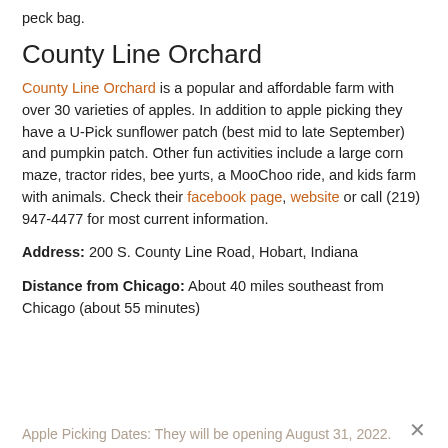peck bag.
County Line Orchard
County Line Orchard is a popular and affordable farm with over 30 varieties of apples. In addition to apple picking they have a U-Pick sunflower patch (best mid to late September) and pumpkin patch. Other fun activities include a large corn maze, tractor rides, bee yurts, a MooChoo ride, and kids farm with animals. Check their facebook page, website or call (219) 947-4477 for most current information.
Address: 200 S. County Line Road, Hobart, Indiana
Distance from Chicago: About 40 miles southeast from Chicago (about 55 minutes)
Apple Picking Dates: They will be opening August 31, 2022.